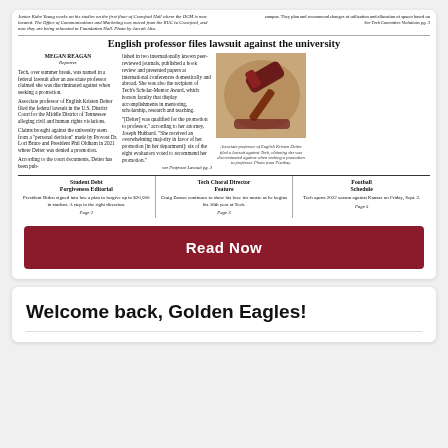[Figure (screenshot): Newspaper front page screenshot showing headline 'English professor files lawsuit against the university' with article text in columns, a gavel photo, and three teaser boxes at the bottom for Student Debt Forgiveness Editorial, Tech Choral Director Feature, and Football Schedule.]
Read Now
Welcome back, Golden Eagles!